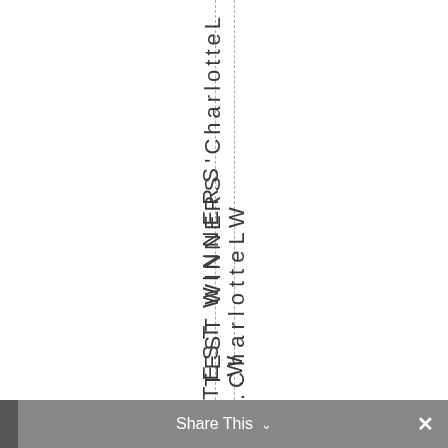TEST WINNERS 'CharlotteLW'
Share This ∨  ×